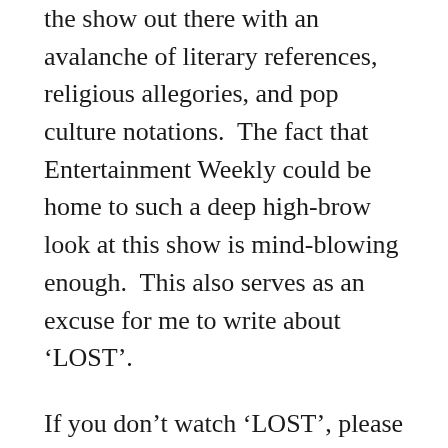the show out there with an avalanche of literary references, religious allegories, and pop culture notations.  The fact that Entertainment Weekly could be home to such a deep high-brow look at this show is mind-blowing enough.  This also serves as an excuse for me to write about ‘LOST’.
If you don’t watch ‘LOST’, please feel free to ignore the rest of this post because you won’t know WTF is going on.  As of now, I’m subscribing to the common theory that the “flash sideways” story lines represent the epilogue for each of the characters, where the people who sided with Jacob have ended up with semi-happy lives and the ones that sided with the Smoke Monster/Fake Locke are doomed to the same negative